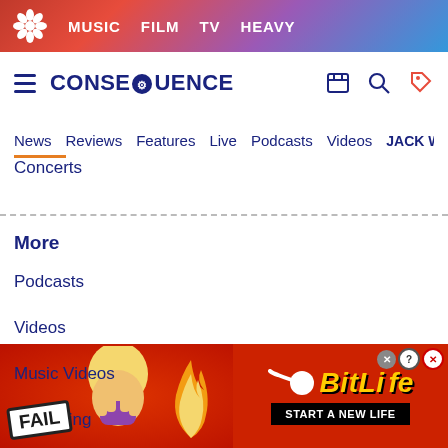MUSIC  FILM  TV  HEAVY
[Figure (logo): Consequence of Sound site logo with hamburger menu and navigation icons]
News
Reviews
Features
Live
Podcasts
Videos
JACK W...
Concerts
More
Podcasts
Videos
Music Videos
Streaming
Wellness
[Figure (infographic): BitLife advertisement banner with FAIL badge, emoji face, flame, BitLife logo, and START A NEW LIFE button]